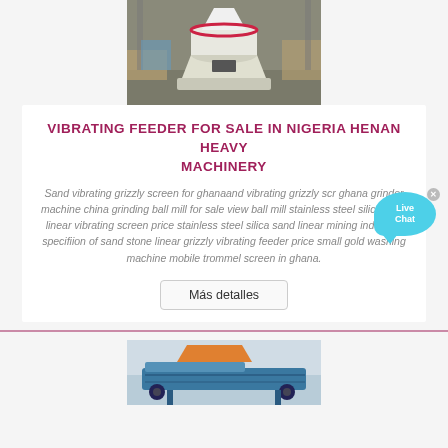[Figure (photo): Industrial cone crusher machine in a warehouse/factory setting, white and red colored equipment]
VIBRATING FEEDER FOR SALE IN NIGERIA HENAN HEAVY MACHINERY
Sand vibrating grizzly screen for ghanaand vibrating grizzly screen ghana grinder machine china grinding ball mill for sale view ball mill stainless steel silica sand linear vibrating screen price stainless steel silica sand linear mining industrial specifiion of sand stone linear grizzly vibrating feeder price small gold washing machine mobile trommel screen in ghana.
[Figure (photo): Industrial vibrating feeder or conveyor machine, blue colored, in a factory]
[Figure (other): Live Chat button overlay, cyan speech bubble with Live Chat text and X close button]